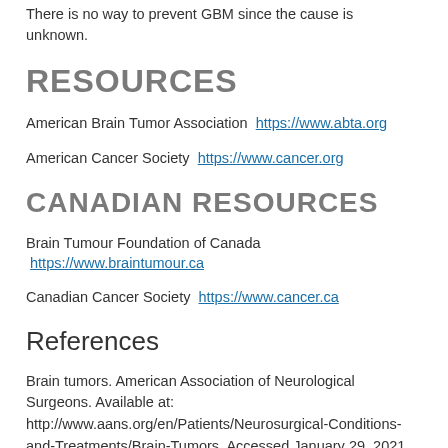There is no way to prevent GBM since the cause is unknown.
RESOURCES
American Brain Tumor Association  https://www.abta.org
American Cancer Society  https://www.cancer.org
CANADIAN RESOURCES
Brain Tumour Foundation of Canada  https://www.braintumour.ca
Canadian Cancer Society  https://www.cancer.ca
References
Brain tumors. American Association of Neurological Surgeons. Available at: http://www.aans.org/en/Patients/Neurosurgical-Conditions-and-Treatments/Brain-Tumors. Accessed January 29, 2021.